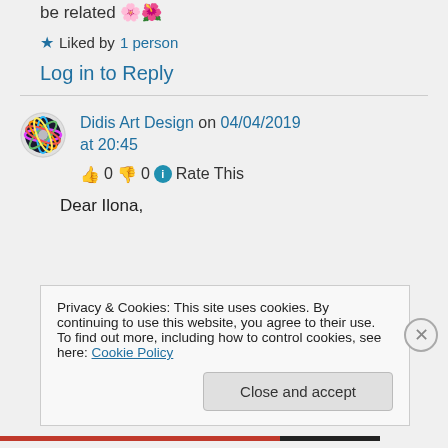be related 🌸🌺
★ Liked by 1 person
Log in to Reply
Didis Art Design on 04/04/2019 at 20:45
👍 0 👎 0 ℹ Rate This
Dear Ilona,
Privacy & Cookies: This site uses cookies. By continuing to use this website, you agree to their use.
To find out more, including how to control cookies, see here: Cookie Policy
Close and accept